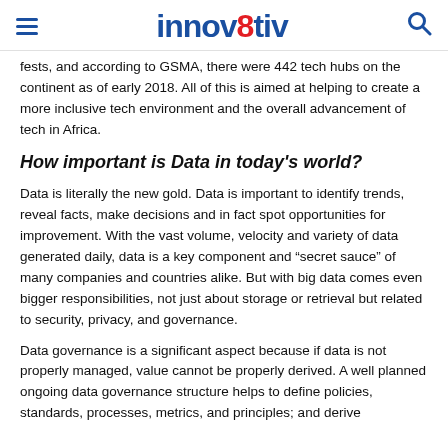innov8tiv
fests, and according to GSMA, there were 442 tech hubs on the continent as of early 2018. All of this is aimed at helping to create a more inclusive tech environment and the overall advancement of tech in Africa.
How important is Data in today’s world?
Data is literally the new gold. Data is important to identify trends, reveal facts, make decisions and in fact spot opportunities for improvement. With the vast volume, velocity and variety of data generated daily, data is a key component and “secret sauce” of many companies and countries alike. But with big data comes even bigger responsibilities, not just about storage or retrieval but related to security, privacy, and governance.
Data governance is a significant aspect because if data is not properly managed, value cannot be properly derived. A well planned ongoing data governance structure helps to define policies, standards, processes, metrics, and principles; and derive